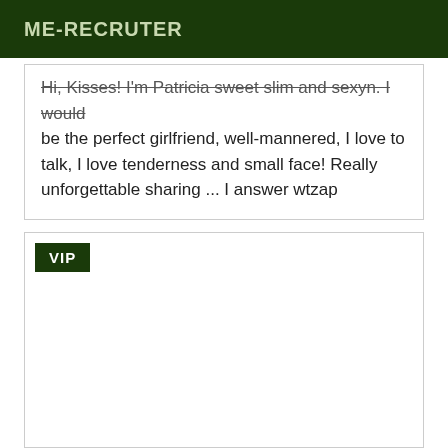ME-RECRUTER
Hi, Kisses! I'm Patricia sweet slim and sexyn. I would be the perfect girlfriend, well-mannered, I love to talk, I love tenderness and small face! Really unforgettable sharing ... I answer wtzap
VIP